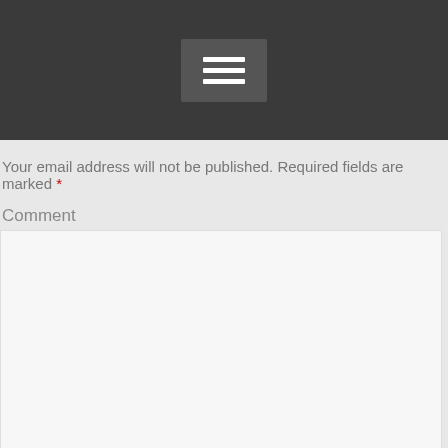[Figure (other): Dark gray navigation header bar with hamburger menu icon (three horizontal white lines on a slightly darker square background)]
Your email address will not be published. Required fields are marked *
Comment
[Figure (other): Large empty text area input box for comment entry with resize handle at bottom right]
Name *